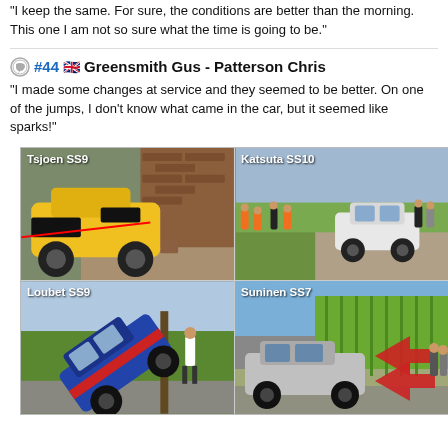"I keep the same. For sure, the conditions are better than the morning. This one I am not so sure what the time is going to be."
#44 🇬🇧 Greensmith Gus - Patterson Chris
"I made some changes at service and they seemed to be better. On one of the jumps, I don't know what came in the car, but it seemed like sparks!"
[Figure (photo): Four rally car accident/incident photos arranged in a 2x2 grid. Top-left: Tsjoen SS9 - yellow/black rally car crashed into a brick wall. Top-right: Katsuta SS10 - white rally car off-road with spectators watching. Bottom-left: Loubet SS9 - blue/red Hyundai rally car on its side against a post. Bottom-right: Suninen SS7 - grey rally car stopped near cornfield with red arrow graphics overlay.]